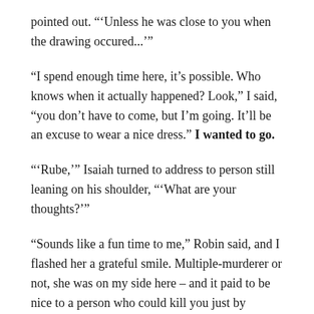pointed out. "‘Unless he was close to you when the drawing occured...’"
“I spend enough time here, it’s possible. Who knows when it actually happened? Look,” I said, “you don’t have to come, but I’m going. It’ll be an excuse to wear a nice dress.” I wanted to go.
"‘Rube,’" Isaiah turned to address to person still leaning on his shoulder, "‘What are your thoughts?’"
“Sounds like a fun time to me,” Robin said, and I flashed her a grateful smile. Multiple-murderer or not, she was on my side here – and it paid to be nice to a person who could kill you just by wanting it enough. I still hadn’t forgotten the meteor that her powers had aimed at